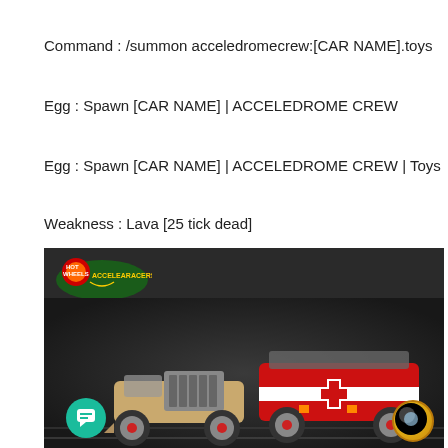Command : /summon acceledromecrew:[CAR NAME].toys
Egg : Spawn [CAR NAME] | ACCELEDROME CREW
Egg : Spawn [CAR NAME] | ACCELEDROME CREW | Toys
Weakness : Lava [25 tick dead]
[Figure (screenshot): Screenshot from a Hot Wheels Acceleracers game or mod showing two stylized toy cars on a dark track with orange vertical bar accents and the Acceleracers logo in the top left. A teal chat icon is visible bottom left and a gold circle in the bottom right.]